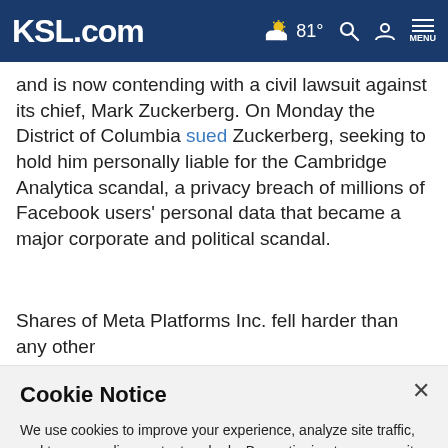KSL.com — 81° [weather icon] [search] [account] MENU
and is now contending with a civil lawsuit against its chief, Mark Zuckerberg. On Monday the District of Columbia sued Zuckerberg, seeking to hold him personally liable for the Cambridge Analytica scandal, a privacy breach of millions of Facebook users' personal data that became a major corporate and political scandal.
Shares of Meta Platforms Inc. fell harder than any other
Cookie Notice
We use cookies to improve your experience, analyze site traffic, and to personalize content and ads. By continuing to use our site, you consent to our use of cookies. Please visit our Terms of Use and Privacy Policy for more information.
Continue